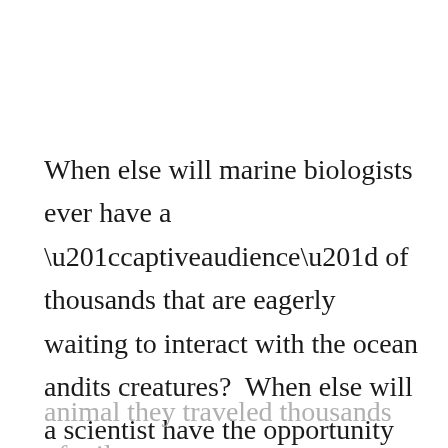When else will marine biologists ever have a “captiveaudience” of thousands that are eagerly waiting to interact with the ocean andits creatures?  When else will a scientist have the opportunity to educate members of a population on how societal norms and behaviors threaten the existence of the very animal they traveled thousands of miles to see?  In this excited state, how difficult